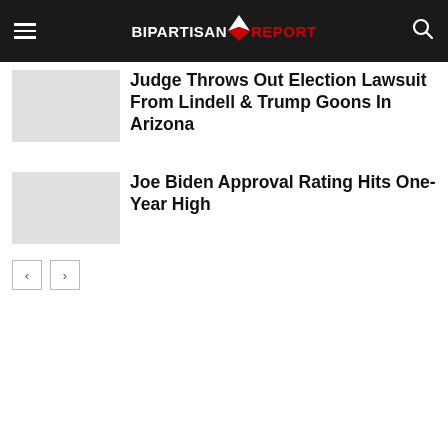BIPARTISAN REPORT
Judge Throws Out Election Lawsuit From Lindell & Trump Goons In Arizona
Joe Biden Approval Rating Hits One-Year High